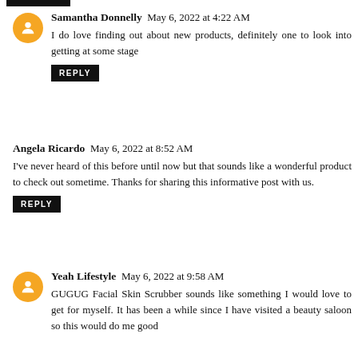Samantha Donnelly  May 6, 2022 at 4:22 AM
I do love finding out about new products, definitely one to look into getting at some stage
REPLY
Angela Ricardo  May 6, 2022 at 8:52 AM
I've never heard of this before until now but that sounds like a wonderful product to check out sometime. Thanks for sharing this informative post with us.
REPLY
Yeah Lifestyle  May 6, 2022 at 9:58 AM
GUGUG Facial Skin Scrubber sounds like something I would love to get for myself. It has been a while since I have visited a beauty saloon so this would do me good